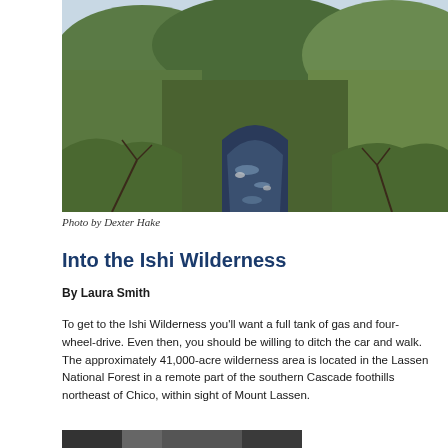[Figure (photo): Aerial or elevated view of a river or stream cutting through forested hills with dense green and brown trees on both sides, and rocky water visible in the center. Photo of the Ishi Wilderness area.]
Photo by Dexter Hake
Into the Ishi Wilderness
By Laura Smith
To get to the Ishi Wilderness you'll want a full tank of gas and four-wheel-drive. Even then, you should be willing to ditch the car and walk. The approximately 41,000-acre wilderness area is located in the Lassen National Forest in a remote part of the southern Cascade foothills northeast of Chico, within sight of Mount Lassen.
[Figure (photo): Partial view of another wilderness landscape photo at the bottom of the page, cropped.]